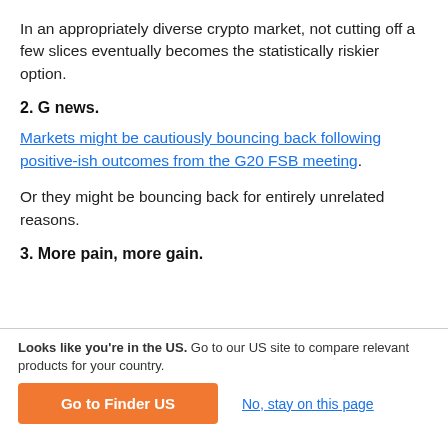In an appropriately diverse crypto market, not cutting off a few slices eventually becomes the statistically riskier option.
2. G news.
Markets might be cautiously bouncing back following positive-ish outcomes from the G20 FSB meeting.
Or they might be bouncing back for entirely unrelated reasons.
3. More pain, more gain.
Looks like you're in the US. Go to our US site to compare relevant products for your country.
Go to Finder US
No, stay on this page